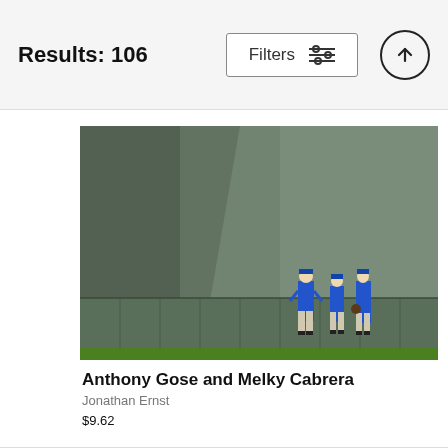Results: 106
[Figure (screenshot): Filters button with sliders icon and up-arrow circle button in header bar]
[Figure (photo): Three baseball players in blue uniforms standing near the outfield wall, with a large green wall behind them and a grass field below.]
Anthony Gose and Melky Cabrera
Jonathan Ernst
$9.62